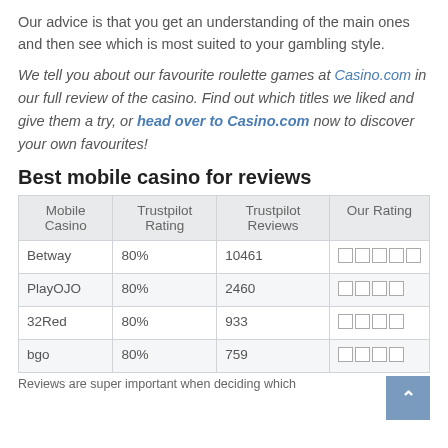Our advice is that you get an understanding of the main ones and then see which is most suited to your gambling style.
We tell you about our favourite roulette games at Casino.com in our full review of the casino. Find out which titles we liked and give them a try, or head over to Casino.com now to discover your own favourites!
Best mobile casino for reviews
| Mobile Casino | Trustpilot Rating | Trustpilot Reviews | Our Rating |
| --- | --- | --- | --- |
| Betway | 80% | 10461 | □□□□□ |
| PlayOJO | 80% | 2460 | □□□□ |
| 32Red | 80% | 933 | □□□□ |
| bgo | 80% | 759 | □□□□ |
Reviews are super important when deciding which